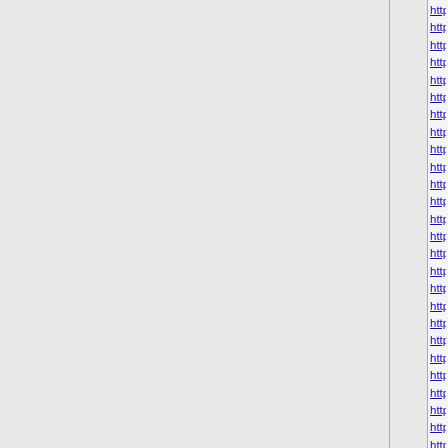http://www.pandoras-charms.us
http://www.birkenstocks-outlet.com
http://www.pumafentyshoes.us
http://www.vans-sale.us
http://www.underarmouroutlet…
http://www.polo-outlet.us.org
http://www.yeezysboost350.us…
http://www.adidas-yeezys.us
http://www.pandorasale.us.com
http://www.christianlouboutins-s…
http://www.nikesoccercleats.com
http://www.salvatoreferragamo-…
http://www.michaelkorshandbag…
http://www.skechersboots.us.co
http://www.adidasshoesmen.us
http://www.pandorajewelrysite.u…
http://www.yeezy-zebra.us
http://www.pandorajewelryoffici…
http://www.pandoraus.us.com
http://www.nflcheapjerseysfrom…
http://www.uggs-onsale.us.com
http://www.birkenstocksshoes.u…
http://www.thenorthfaceoutletor…
http://www.airvapormax.org
http://www.redbottoms.com.co
http://www.redbottomslouboutin…
http://www.red-bottoms-shoes.u…
http://www.nikeoutletstoresonlin…
http://www.adidasoutlets.us
http://www.north-face-jackets.u…
http://www.louboutin-outlets.us
http://www.thenorthface-jackets…
http://www.lebron15shoes.us
http://www.christianlouboutinme…
http://www.calvinklein-underwe…
http://www.adidassoccercleats.…
http://www.adidas--nmd.us.com
http://www.christianlouboutin…